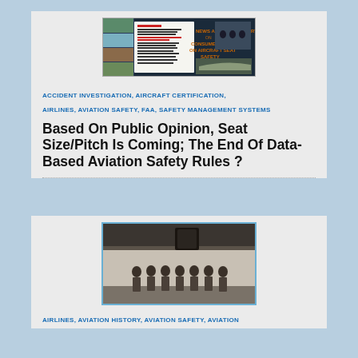[Figure (photo): Composite/collage image showing aviation safety report cover with photos of aviation incidents and passengers evacuating aircraft]
ACCIDENT INVESTIGATION, AIRCRAFT CERTIFICATION, AIRLINES, AVIATION SAFETY, FAA, SAFETY MANAGEMENT SYSTEMS
Based On Public Opinion, Seat Size/Pitch Is Coming; The End Of Data-Based Aviation Safety Rules ?
[Figure (photo): Black and white vintage photograph of a group of women (flight attendants) standing in uniform in front of an aircraft]
AIRLINES, AVIATION HISTORY, AVIATION SAFETY, AVIATION